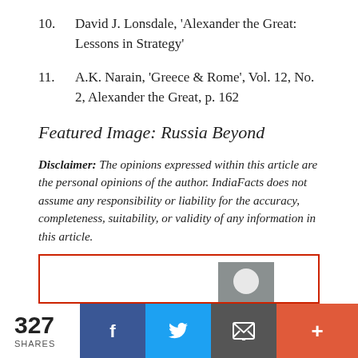10. David J. Lonsdale, 'Alexander the Great: Lessons in Strategy'
11. A.K. Narain, 'Greece & Rome', Vol. 12, No. 2, Alexander the Great, p. 162
Featured Image: Russia Beyond
Disclaimer: The opinions expressed within this article are the personal opinions of the author. IndiaFacts does not assume any responsibility or liability for the accuracy, completeness, suitability, or validity of any information in this article.
[Figure (photo): Partial view of a photo inside a red-bordered box, showing a small circular light shape]
327 SHARES | Facebook | Twitter | Email | More